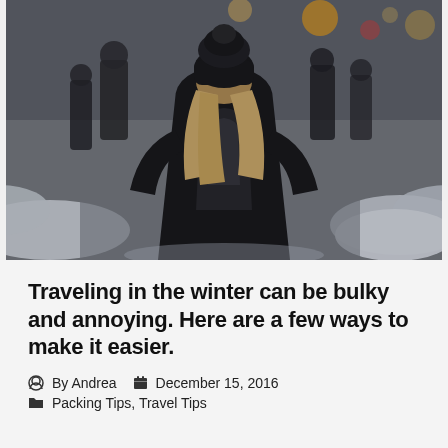[Figure (photo): A person with blonde hair wearing a black beanie hat and black coat with a backpack, photographed from behind, walking on a snowy city street with other pedestrians and snow piled on the sides.]
Traveling in the winter can be bulky and annoying. Here are a few ways to make it easier.
By Andrea   December 15, 2016   Packing Tips, Travel Tips